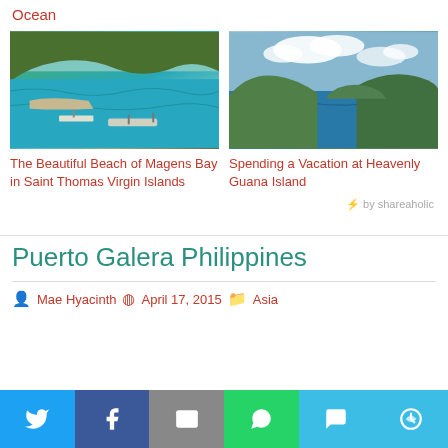Ocean
[Figure (photo): Aerial view of Magens Bay in Saint Thomas Virgin Islands showing turquoise water with boats and green hills]
[Figure (photo): View of Guana Island showing green hills, blue ocean and clouds]
The Beautiful Beach of Magens Bay in Saint Thomas Virgin Islands
Spending a Vacation at Heavenly Guana Island
⚡ by shareaholic
Puerto Galera Philippines
Mae Hyacinth   April 17, 2015   Asia